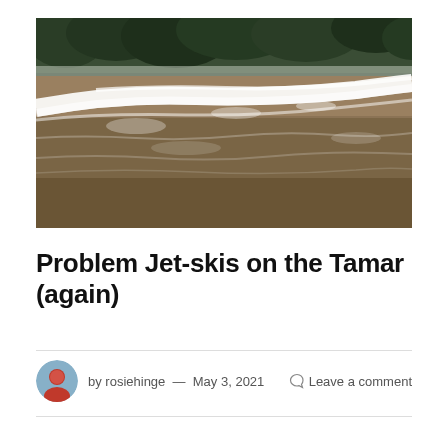[Figure (photo): Aerial or close-up photo of a river with murky brown water and a white wake/foam trail cutting across the surface, with dark green trees visible along the bank in the background.]
Problem Jet-skis on the Tamar (again)
by rosiehinge — May 3, 2021   Leave a comment